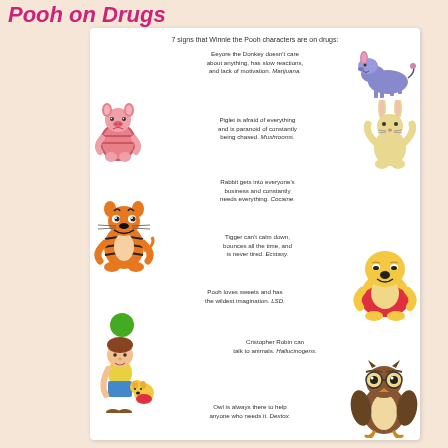Pooh on Drugs
[Figure (illustration): Winnie the Pooh characters illustrated with humorous drug references - Eeyore, Piglet, Rabbit, Tigger, Pooh, Christopher Robin, Owl]
7 signs that Winnie the Pooh characters are on drugs:
Eeyore the Donkey doesn't care about anything, has slow reactions, and lack of motivation. Marijuana.
Piglet is afraid of everything and is paranoid of constantly being chased. Mushrooms.
Rabbit gets into everyone's business and constantly needs everything. Cocaine.
Tigger can't calm down, bounces all the time, and is never tired. Ecstasy.
Pooh loves sweets and has the wildest imagination. LSD.
Cristopher Robin can talk to animals. Hallucinogens.
Owl is always there to help anyone who needs it. Dextox.